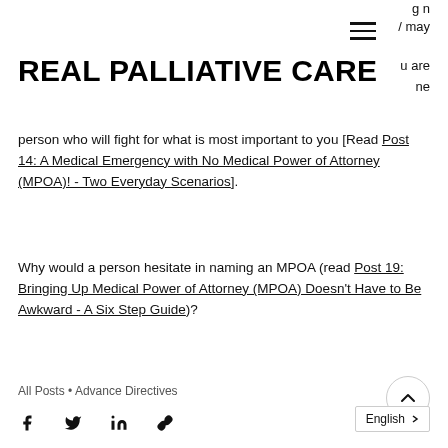g n / may
REAL PALLIATIVE CARE
u are ne
person who will fight for what is most important to you [Read Post 14: A Medical Emergency with No Medical Power of Attorney (MPOA)! - Two Everyday Scenarios].
Why would a person hesitate in naming an MPOA (read Post 19: Bringing Up Medical Power of Attorney (MPOA) Doesn't Have to Be Awkward - A Six Step Guide)?
All Posts • Advance Directives